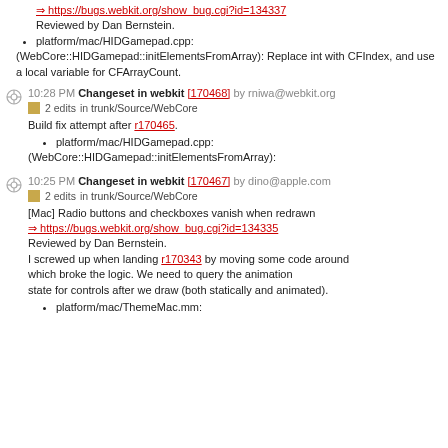https://bugs.webkit.org/show_bug.cgi?id=134337
Reviewed by Dan Bernstein.
platform/mac/HIDGamepad.cpp:
(WebCore::HIDGamepad::initElementsFromArray): Replace int with CFIndex, and use a local variable for CFArrayCount.
10:28 PM Changeset in webkit [170468] by rniwa@webkit.org
2 edits in trunk/Source/WebCore
Build fix attempt after r170465.
platform/mac/HIDGamepad.cpp:
(WebCore::HIDGamepad::initElementsFromArray):
10:25 PM Changeset in webkit [170467] by dino@apple.com
2 edits in trunk/Source/WebCore
[Mac] Radio buttons and checkboxes vanish when redrawn https://bugs.webkit.org/show_bug.cgi?id=134335 Reviewed by Dan Bernstein. I screwed up when landing r170343 by moving some code around which broke the logic. We need to query the animation state for controls after we draw (both statically and animated).
platform/mac/ThemeMac.mm: